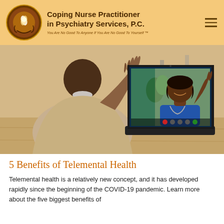Coping Nurse Practitioner in Psychiatry Services, P.C. — You Are No Good To Anyone If You Are No Good To Yourself ™
[Figure (photo): Person sitting at home waving at a smiling doctor on a laptop screen during a telehealth video call]
5 Benefits of Telemental Health
Telemental health is a relatively new concept, and it has developed rapidly since the beginning of the COVID-19 pandemic. Learn more about the five biggest benefits of